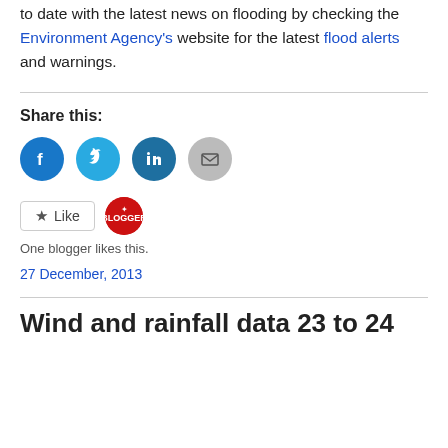to date with the latest news on flooding by checking the Environment Agency's website for the latest flood alerts and warnings.
Share this:
[Figure (infographic): Social share icons: Facebook (blue circle), Twitter (light blue circle), LinkedIn (dark blue circle), Email (grey circle)]
[Figure (infographic): Like button with star icon and a red blogger avatar circle]
One blogger likes this.
27 December, 2013
Wind and rainfall data 23 to 24